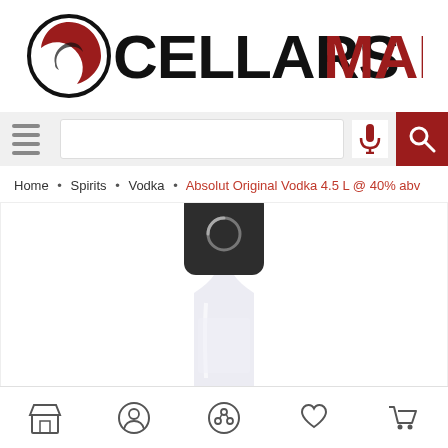[Figure (logo): CellarsMarket logo with circular wine glass icon and text CELLARSMARKET where CELLARS is black and MARKET is dark red]
[Figure (screenshot): Search bar with hamburger menu icon on left, microphone icon, and red search button on right]
Home • Spirits • Vodka • Absolut Original Vodka 4.5 L @ 40% abv
[Figure (photo): Absolut Original Vodka 4.5L bottle, clear glass, shown from upper body]
[Figure (screenshot): Bottom navigation bar with store, user, share, heart/wishlist, and cart icons]